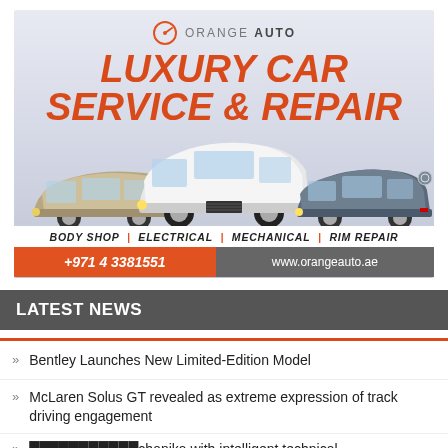[Figure (illustration): Orange Auto luxury car service and repair advertisement banner showing logo, headline 'LUXURY CAR SERVICE & REPAIR', three luxury cars (Jaguar, Bentley, Mercedes), services list (BODY SHOP | ELECTRICAL | MECHANICAL | RIM REPAIR), phone +971 4 3381551 and website www.orangeauto.ae]
LATEST NEWS
Bentley Launches New Limited-Edition Model
McLaren Solus GT revealed as extreme expression of track driving engagement
...chanika with intelligent technical